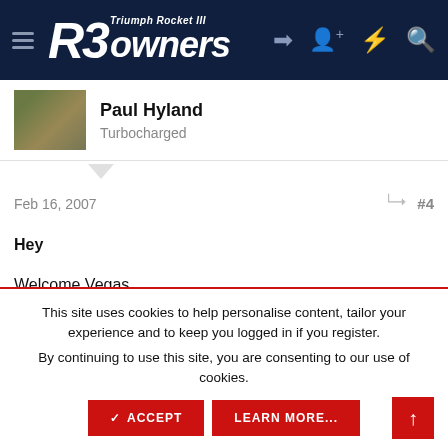[Figure (screenshot): R3 Owners website header with logo 'R3 owners Triumph Rocket III' on dark navy background with navigation icons]
Paul Hyland
Turbocharged
Feb 16, 2007
#4
Hey
Welcome Vegas…………………
This site uses cookies to help personalise content, tailor your experience and to keep you logged in if you register. By continuing to use this site, you are consenting to our use of cookies.